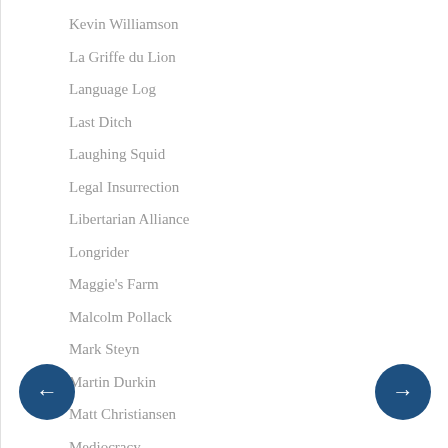Kevin Williamson
La Griffe du Lion
Language Log
Last Ditch
Laughing Squid
Legal Insurrection
Libertarian Alliance
Longrider
Maggie's Farm
Malcolm Pollack
Mark Steyn
Martin Durkin
Matt Christiansen
Mediocracy
Memeorandum
MEMRI
MEMRI TV
Michelle Malkin
Mick Hartley
Minding the Campus
Monday Books
NAS
National Review
Neatorama